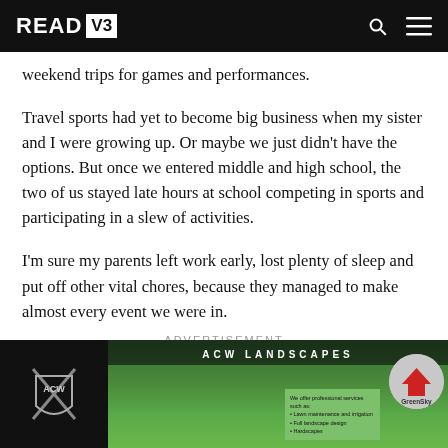READ V3
weekend trips for games and performances.
Travel sports had yet to become big business when my sister and I were growing up. Or maybe we just didn't have the options. But once we entered middle and high school, the two of us stayed late hours at school competing in sports and participating in a slew of activities.
I'm sure my parents left work early, lost plenty of sleep and put off other vital chores, because they managed to make almost every event we were in.
ADVERTISEMENT
[Figure (other): ACW Landscapes advertisement banner showing a lawn/grass background with company logo on the left, title bar reading ACW LANDSCAPES, a green info box, and a GreenSky circular logo on the right.]